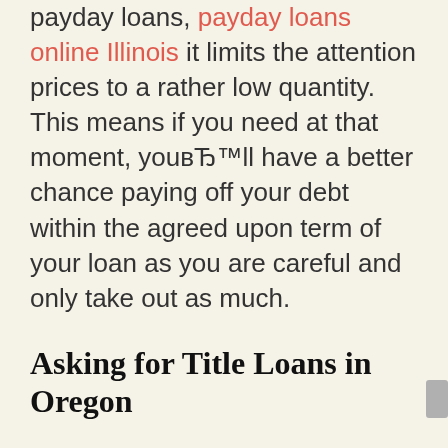payday loans, payday loans online Illinois it limits the attention prices to a rather low quantity. This means if you need at that moment, youвЂ™ll have a better chance paying off your debt within the agreed upon term of your loan as you are careful and only take out as much.
Asking for Title Loans in Oregon
Automobile name loans can be viable choices for customers